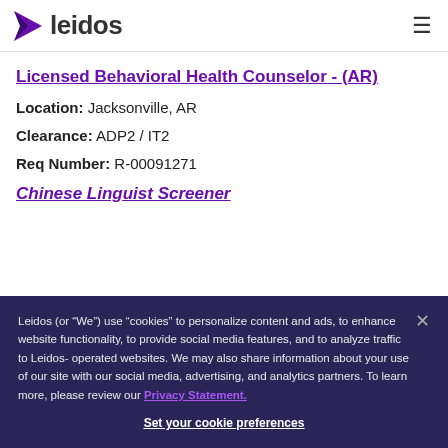leidos
Licensed Behavioral Health Counselor - (AR)
Location: Jacksonville, AR
Clearance: ADP2 / IT2
Req Number: R-00091271
Chinese Linguist Screener
Leidos (or “We”) use “cookies” to personalize content and ads, to enhance website functionality, to provide social media features, and to analyze traffic to Leidos-operated websites. We may also share information about your use of our site with our social media, advertising, and analytics partners. To learn more, please review our Privacy Statement.
Set your cookie preferences